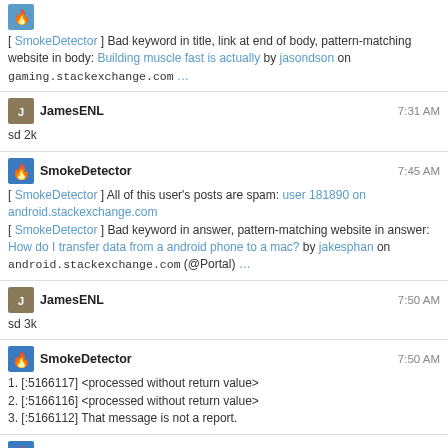[ SmokeDetector ] Bad keyword in title, link at end of body, pattern-matching website in body: Building muscle fast is actually by jasondson on gaming.stackexchange.com ...
JamesENL 7:31 AM
sd 2k
SmokeDetector 7:45 AM
[ SmokeDetector ] All of this user's posts are spam: user 181890 on android.stackexchange.com
[ SmokeDetector ] Bad keyword in answer, pattern-matching website in answer: How do I transfer data from a android phone to a mac? by jakesphan on android.stackexchange.com (@Portal) ...
JamesENL 7:50 AM
sd 3k
SmokeDetector 7:50 AM
1. [:5166117] <processed without return value>
2. [:5166116] <processed without return value>
3. [:5166112] That message is not a report.
SmokeDetector 8:00 AM
[ SmokeDetector ] Blacklisted website in answer, blacklisted user: displaying certain payment methods for customer groups by Noah on magento.stackexchange.com ...
[ SmokeDetector ] Blacklisted website in answer: displaying certain payment methods for customer groups by Sophia on magento.stackexchange.com ...